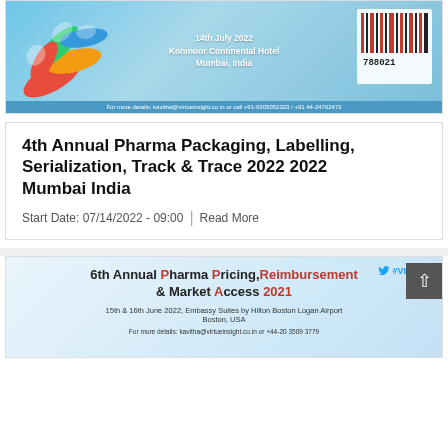[Figure (infographic): Conference banner for 4th Annual Pharma Packaging, Labelling, Serialization, Track & Trace 2022. Shows colourful pills on the left, text in the centre with date and venue, and a barcode on the right. Footer contact line.]
4th Annual Pharma Packaging, Labelling, Serialization, Track & Trace 2022 2022 Mumbai India
Start Date: 07/14/2022 - 09:00  |  Read More
[Figure (infographic): Conference banner for 6th Annual Pharma Pricing, Reimbursement & Market Access 2021. Shows event title in red and black text, date 15th & 16th June 2022, Embassy Suites by Hilton Boston Logan Airport Boston, USA, and contact details.]